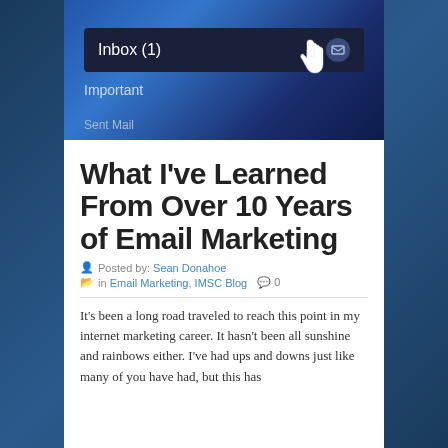[Figure (screenshot): Email inbox screenshot showing 'Inbox (1)' bar in dark navy with a cursor hand icon, and 'Important' row below, on a blue gradient background]
What I've Learned From Over 10 Years of Email Marketing
Posted by: Sean Donahoe
in Email Marketing, IMSC Blog  0
It's been a long road traveled to reach this point in my internet marketing career. It hasn't been all sunshine and rainbows either. I've had ups and downs just like many of you have had, but this has